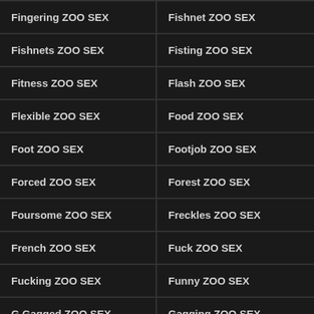Fingering ZOO SEX
Fishnet ZOO SEX
Fishnets ZOO SEX
Fisting ZOO SEX
Fitness ZOO SEX
Flash ZOO SEX
Flexible ZOO SEX
Food ZOO SEX
Foot ZOO SEX
Footjob ZOO SEX
Forced ZOO SEX
Forest ZOO SEX
Foursome ZOO SEX
Freckles ZOO SEX
French ZOO SEX
Fuck ZOO SEX
Fucking ZOO SEX
Funny ZOO SEX
G Gagged ZOO SEX
Gagging ZOO SEX